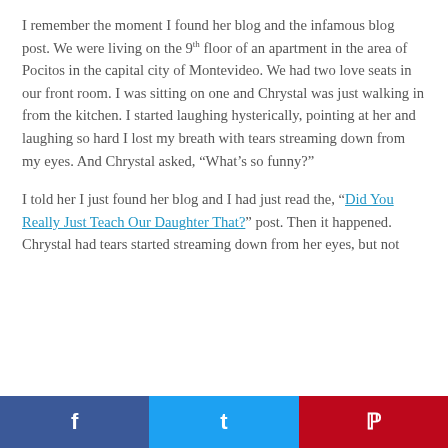I remember the moment I found her blog and the infamous blog post. We were living on the 9th floor of an apartment in the area of Pocitos in the capital city of Montevideo. We had two love seats in our front room. I was sitting on one and Chrystal was just walking in from the kitchen. I started laughing hysterically, pointing at her and laughing so hard I lost my breath with tears streaming down from my eyes. And Chrystal asked, “What’s so funny?”
I told her I just found her blog and I had just read the, “Did You Really Just Teach Our Daughter That?” post. Then it happened. Chrystal had tears started streaming down from her eyes, but not
f  t  p